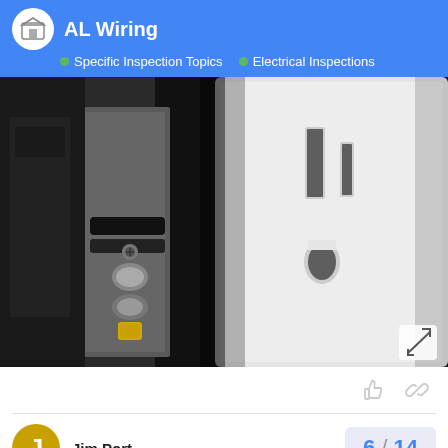AL Wiring · Specific Inspection Topics · Electrical Inspections
[Figure (photo): Close-up photo of an electrical outlet (receptacle) partially pulled from the wall, showing the back of the white outlet face and wiring connections on the left side including metal contacts, wire terminations, and a yellow component against a dark background.]
Jim Port
6 / 14